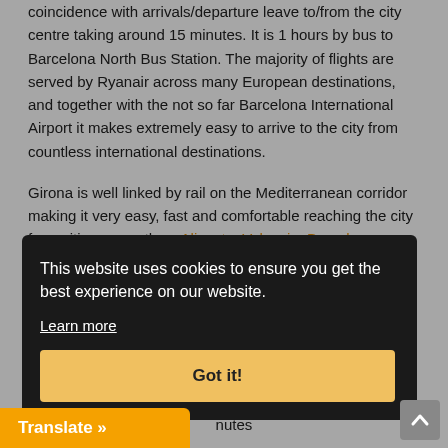coincidence with arrivals/departure leave to/from the city centre taking around 15 minutes. It is 1 hours by bus to Barcelona North Bus Station. The majority of flights are served by Ryanair across many European destinations, and together with the not so far Barcelona International Airport it makes extremely easy to arrive to the city from countless international destinations.
Girona is well linked by rail on the Mediterranean corridor making it very easy, fast and comfortable reaching the city from cities as south as Alicante, Valencia, Barcelona, or from France as Perpignan, Marseille or Montpellier. Train-Hotels do also call in Girona on their way to ... And of course, by and ... by long ...
... that ... toward ... minutes ... ts train station.
This website uses cookies to ensure you get the best experience on our website. Learn more
Got it!
Translate »